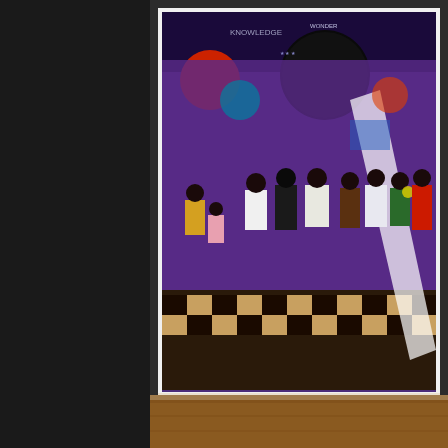[Figure (photo): Photograph of a large colorful mural painting titled 'Knowledge and Wonder [1995]' by Kerry James Marshall, displayed on a gallery wall. The painting shows children and figures viewing a large vibrant mural with purple background, celestial elements, and checkerboard floor patterns. The gallery has a wooden floor visible below the artwork.]
Knowledge and Wonder [1995] by Kerry James Ma
Images from Opening Receptio
The exhibition includes a selection of artworks from the city's public art collectio Chicagoan Kerry James Marshall  is placed right in the center of the Exhibit Ha also have murals from public library, by well know Chicago artists. The north wa Washington Library Center and the south wall has Bernard Williams's “Forces o